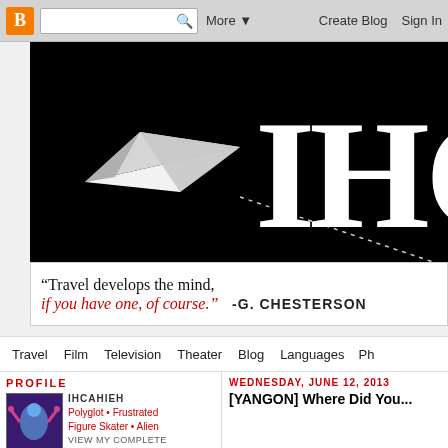Blogger navigation bar — B logo, search, More, Create Blog, Sign In
[Figure (illustration): Blog banner: black background with large white serif IH letters (partially cropped) and a white paper airplane trailing a dashed dotted path]
“Travel develops the mind, if you have one, of course.”  -G. CHESTERSON
Navigation menu: Travel | Film | Television | Theater | Blog | Languages | Ph...
PROFILE
[Figure (photo): Profile photo: blue figure with raised hands on purple background]
IHCAHIEH
Polyglot • Frustrated Figure Skater • Alien
VIEW MY COMPLETE
WEDNESDAY, JUNE 12, 2013
[YANGON] Where Did You...